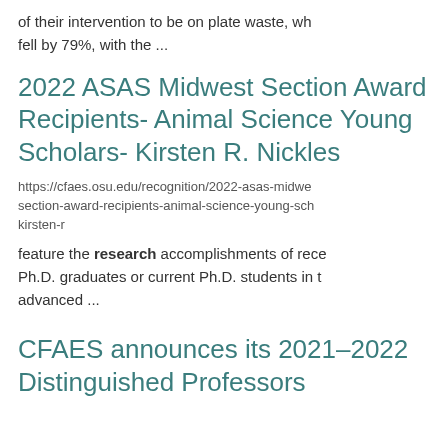of their intervention to be on plate waste, wh fell by 79%, with the ...
2022 ASAS Midwest Section Award Recipients- Animal Science Young Scholars- Kirsten R. Nickles
https://cfaes.osu.edu/recognition/2022-asas-midwe section-award-recipients-animal-science-young-sc kirsten-r
feature the research accomplishments of rece Ph.D. graduates or current Ph.D. students in t advanced ...
CFAES announces its 2021–2022 Distinguished Professors